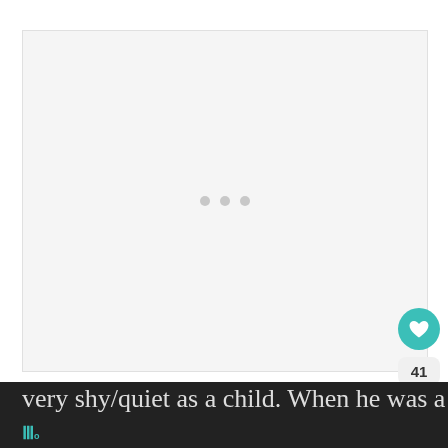[Figure (other): Large light gray placeholder image area with three small gray dots centered, indicating a loading or empty image state]
The family lived in poverty, and Meek was very shy/quiet as a child. When he was a